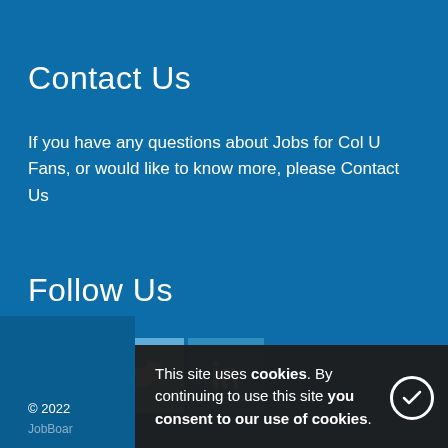Contact Us
If you have any questions about Jobs for Col U Fans, or would like to know more, please Contact Us
Follow Us
[Figure (illustration): Social media icons: Facebook (blue square with 'f'), Twitter (light blue square with bird), LinkedIn (medium blue square with 'in')]
© 2022 JobBoard... JobBoard software by HotLizard.
This site uses cookies. By continuing to use this site you consent to our use of cookies.